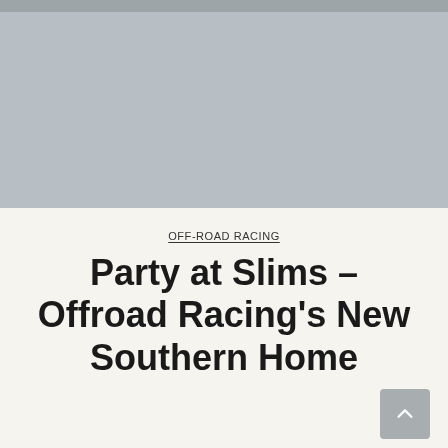[Figure (photo): Gray placeholder image area representing a photo at the top of the article page]
OFF-ROAD RACING
Party at Slims – Offroad Racing's New Southern Home